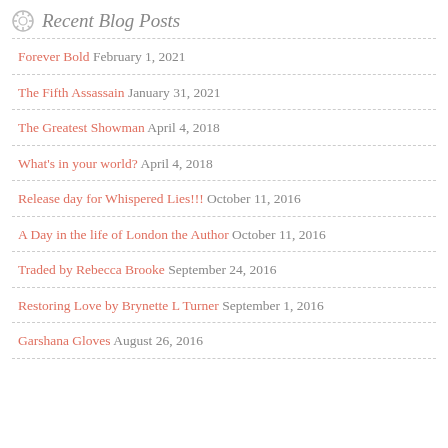Recent Blog Posts
Forever Bold February 1, 2021
The Fifth Assassain January 31, 2021
The Greatest Showman April 4, 2018
What's in your world? April 4, 2018
Release day for Whispered Lies!!! October 11, 2016
A Day in the life of London the Author October 11, 2016
Traded by Rebecca Brooke September 24, 2016
Restoring Love by Brynette L Turner September 1, 2016
Garshana Gloves August 26, 2016